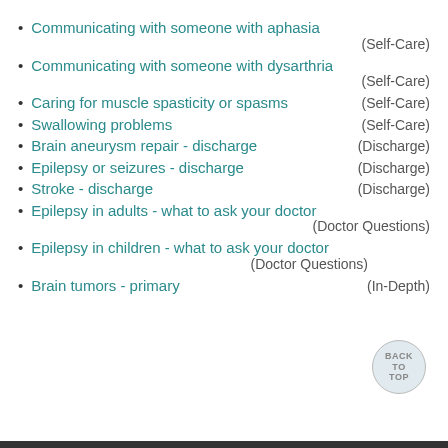Communicating with someone with aphasia
Communicating with someone with dysarthria
Caring for muscle spasticity or spasms
Swallowing problems
Brain aneurysm repair - discharge
Epilepsy or seizures - discharge
Stroke - discharge
Epilepsy in adults - what to ask your doctor
Epilepsy in children - what to ask your doctor
Brain tumors - primary